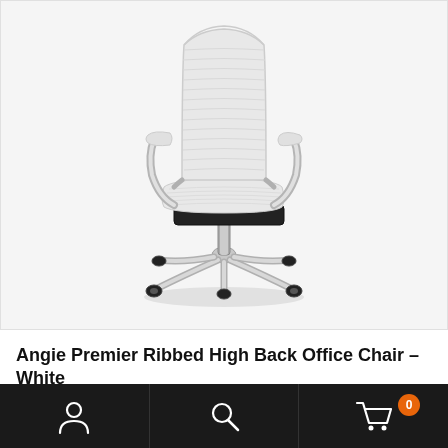[Figure (photo): White ribbed high back office chair with chrome armrests and five-star chrome base with casters, photographed on a light grey/white background]
Angie Premier Ribbed High Back Office Chair – White
[Figure (screenshot): Dark navigation bar with three icons: person/account icon on left, search/magnifying glass icon in center, shopping cart icon with orange badge showing '0' on right]